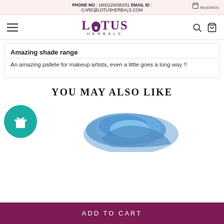PHONE NO : 18001200362S1 EMAIL ID : CARE@LOTUSHERBALS.COM   REWARDS
[Figure (logo): Lotus Herbals logo with lotus flower icon, purple text]
Amazing shade range
An amazing pallete for makeup artists, even a little goes a long way !!
YOU MAY ALSO LIKE
[Figure (photo): Teal gift badge icon circle on left, blue powder makeup swatch on right]
ADD TO CART